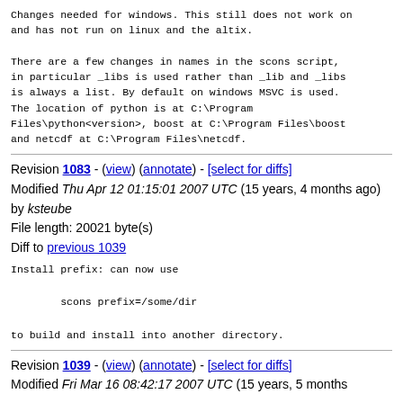Changes needed for windows. This still does not work on and has not run on linux and the altix.

There are a few changes in names in the scons script, in particular _libs is used rather than _lib and _libs is always a list. By default on windows MSVC is used. The location of python is at C:\Program Files\python<version>, boost at C:\Program Files\boost and netcdf at C:\Program Files\netcdf.
Revision 1083 - (view) (annotate) - [select for diffs]
Modified Thu Apr 12 01:15:01 2007 UTC (15 years, 4 months ago) by ksteube
File length: 20021 byte(s)
Diff to previous 1039
Install prefix: can now use

        scons prefix=/some/dir

to build and install into another directory.
Revision 1039 - (view) (annotate) - [select for diffs]
Modified Fri Mar 16 08:42:17 2007 UTC (15 years, 5 months